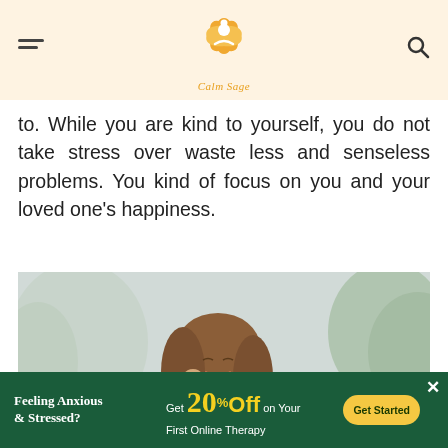Calm Sage
to. While you are kind to yourself, you do not take stress over waste less and senseless problems. You kind of focus on you and your loved one's happiness.
[Figure (photo): A young woman with long brown hair, eyes closed, smiling peacefully, tilting her head, wearing a dark green t-shirt, with blurred trees in the background.]
Feeling Anxious & Stressed? Get 20% Off on Your First Online Therapy Get Started